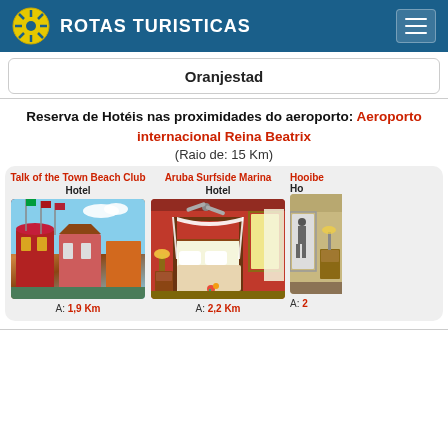ROTAS TURISTICAS
Oranjestad
Reserva de Hotéis nas proximidades do aeroporto: Aeroporto internacional Reina Beatrix
(Raio de: 15 Km)
Talk of the Town Beach Club
Hotel
A: 1,9 Km
[Figure (photo): Exterior photo of Talk of the Town Beach Club hotel with colorful buildings and flags]
Aruba Surfside Marina
Hotel
A: 2,2 Km
[Figure (photo): Interior hotel room with canopy bed, red walls]
Hooibe...
Ho...
A: 2...
[Figure (photo): Partial view of third hotel room interior]